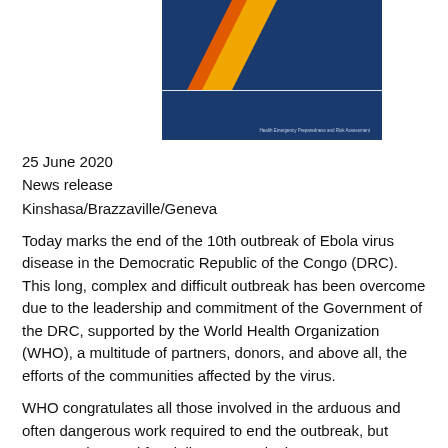[Figure (logo): WHO logo/header graphic — dark blue background with diagonal orange and yellow stripe, white horizontal line dividing sections, small white text at bottom right reading 'Health Emergency Preparedness and Risk Assessment']
25 June 2020
News release
Kinshasa/Brazzaville/Geneva
Today marks the end of the 10th outbreak of Ebola virus disease in the Democratic Republic of the Congo (DRC). This long, complex and difficult outbreak has been overcome due to the leadership and commitment of the Government of the DRC, supported by the World Health Organization (WHO), a multitude of partners, donors, and above all, the efforts of the communities affected by the virus.
WHO congratulates all those involved in the arduous and often dangerous work required to end the outbreak, but stresses the need for vigilance. Continuing to support survivors and maintaining strong surveillance and response